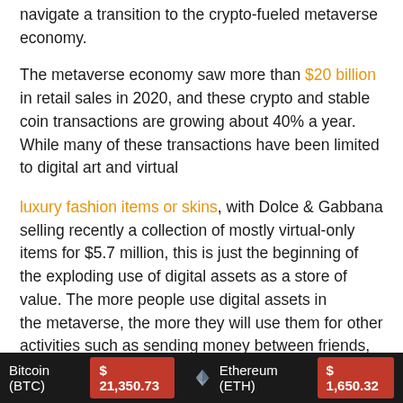navigate a transition to the crypto-fueled metaverse economy.
The metaverse economy saw more than $20 billion in retail sales in 2020, and these crypto and stable coin transactions are growing about 40% a year. While many of these transactions have been limited to digital art and virtual
luxury fashion items or skins, with Dolce & Gabbana selling recently a collection of mostly virtual-only items for $5.7 million, this is just the beginning of the exploding use of digital assets as a store of value. The more people use digital assets in the metaverse, the more they will use them for other activities such as sending money between friends, paying
Bitcoin (BTC) $21,350.73   Ethereum (ETH) $1,650.32